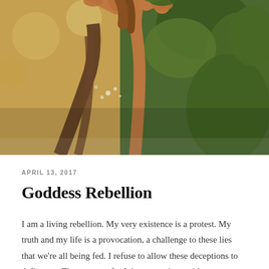[Figure (photo): Artistic nature photo of a person with arms raised among green foliage and branches, warm golden-green light, outdoors forest setting]
APRIL 13, 2017
Goddess Rebellion
I am a living rebellion. My very existence is a protest. My truth and my life is a provocation, a challenge to these lies that we're all being fed. I refuse to allow these deceptions to define me. They cannot, for I denounce them with every